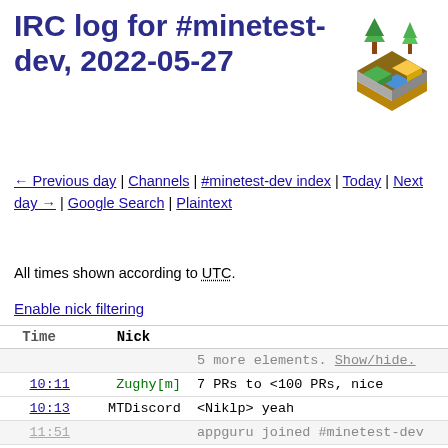IRC log for #minetest-dev, 2022-05-27
[Figure (illustration): Minetest logo: isometric pixelated game world with trees, water, and blocks]
← Previous day | Channels | #minetest-dev index | Today | Next day → | Google Search | Plaintext
All times shown according to UTC.
Enable nick filtering
| Time | Nick |  |
| --- | --- | --- |
|  |  | 5 more elements. Show/hide. |
| 10:11 | Zughy[m] | 7 PRs to <100 PRs, nice |
| 10:13 | MTDiscord | <Niklp> yeah |
| 11:51 |  | appguru joined #minetest-dev |
| 11:51 | appguru | minetest/src/network/server... Server::handleCommand_Init( |
| 11:51 |  | minetest/src/network/server... |